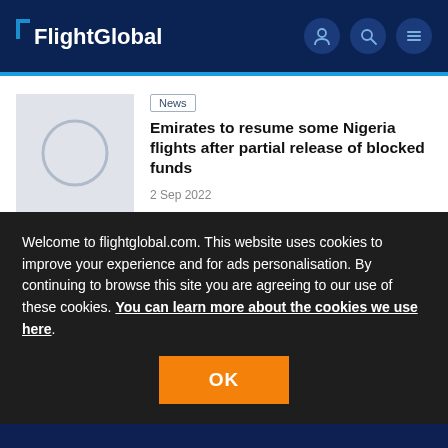FlightGlobal
News
Emirates to resume some Nigeria flights after partial release of blocked funds
2 Sep 2022
Welcome to flightglobal.com. This website uses cookies to improve your experience and for ads personalisation. By continuing to browse this site you are agreeing to our use of these cookies. You can learn more about the cookies we use here.
OK